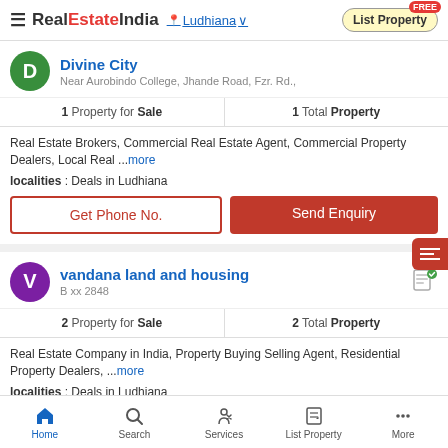RealEstateIndia — Ludhiana — List Property
Divine City
Near Aurobindo College, Jhande Road, Fzr. Rd.,
1 Property for Sale | 1 Total Property
Real Estate Brokers, Commercial Real Estate Agent, Commercial Property Dealers, Local Real ...more
localities : Deals in Ludhiana
Get Phone No. | Send Enquiry
vandana land and housing
B xx 2848
2 Property for Sale | 2 Total Property
Real Estate Company in India, Property Buying Selling Agent, Residential Property Dealers, ...more
localities : Deals in Ludhiana
Home | Search | Services | List Property | More